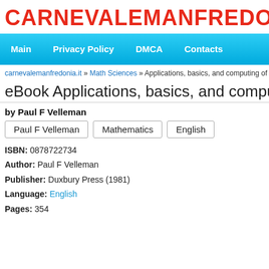CARNEVALEMANFREDONIA.IT
Main  Privacy Policy  DMCA  Contacts
carnevalemanfredonia.it » Math Sciences » Applications, basics, and computing of explorator
eBook Applications, basics, and computing of ex
by Paul F Velleman
Paul F Velleman  Mathematics  English
ISBN: 0878722734
Author: Paul F Velleman
Publisher: Duxbury Press (1981)
Language: English
Pages: 354